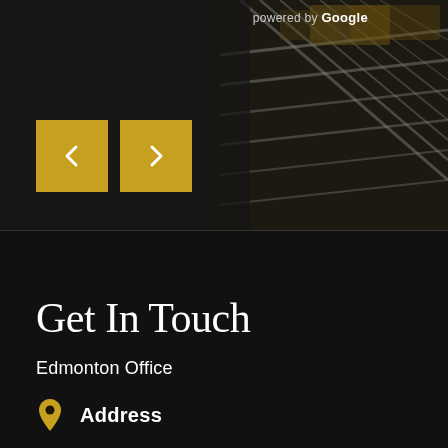[Figure (screenshot): Google Street View / photo viewer interface showing a dark staircase/railing scene with navigation arrows and 'powered by Google' text]
powered by Google
Get In Touch
Edmonton Office
Address